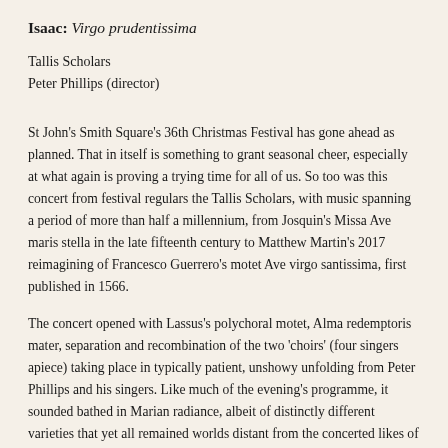Isaac: Virgo prudentissima
Tallis Scholars
Peter Phillips (director)
St John's Smith Square's 36th Christmas Festival has gone ahead as planned. That in itself is something to grant seasonal cheer, especially at what again is proving a trying time for all of us. So too was this concert from festival regulars the Tallis Scholars, with music spanning a period of more than half a millennium, from Josquin's Missa Ave maris stella in the late fifteenth century to Matthew Martin's 2017 reimagining of Francesco Guerrero's motet Ave virgo santissima, first published in 1566.
The concert opened with Lassus's polychoral motet, Alma redemptoris mater, separation and recombination of the two 'choirs' (four singers apiece) taking place in typically patient, unshowy unfolding from Peter Phillips and his singers. Like much of the evening's programme, it sounded bathed in Marian radiance, albeit of distinctly different varieties that yet all remained worlds distant from the concerted likes of Monteverdi or Mozart. In